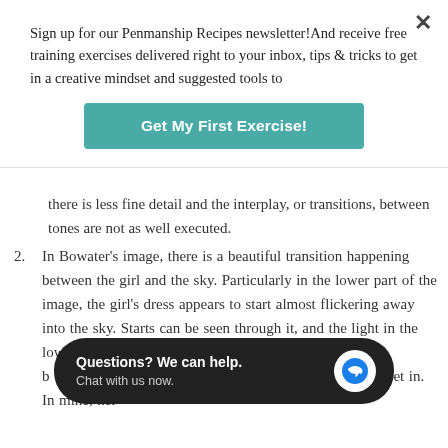Sign up for our Penmanship Recipes newsletter!And receive free training exercises delivered right to your inbox, tips & tricks to get in a creative mindset and suggested tools to
Get My First Exercise!
there is less fine detail and the interplay, or transitions, between tones are not as well executed.
2. In Bowater's image, there is a beautiful transition happening between the girl and the sky. Particularly in the lower part of the image, the girl's dress appears to start almost flickering away into the sky. Starts can be seen through it, and the light in the lower corners gives the … might actually b… therwise part of the landscape she is set in. In mine, her
Questions? We can help. Chat with us now.